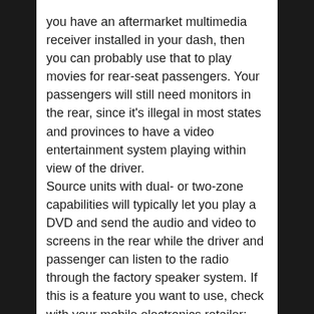you have an aftermarket multimedia receiver installed in your dash, then you can probably use that to play movies for rear-seat passengers. Your passengers will still need monitors in the rear, since it's illegal in most states and provinces to have a video entertainment system playing within view of the driver.
Source units with dual- or two-zone capabilities will typically let you play a DVD and send the audio and video to screens in the rear while the driver and passenger can listen to the radio through the factory speaker system. If this is a feature you want to use, check with your mobile electronics retailer; different brands and models of head units have limitations on what sources can work with what zones.